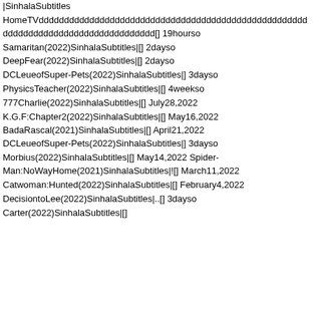​​​​​​​​​​​​​​​​​​|SinhalaSubtitles
HomeTVddddddddddddddddddddddddddddddddddddddddddddddddddddddddddddddddddddddddddddddddddd​​​​​​​​​​[​​​​​​​​​​​​​​​] 19hourso
Samaritan(2022)SinhalaSubtitles|​​​​​​​​[​​​​​​​​​​​​​​​] 2dayso
DeepFear(2022)SinhalaSubtitles|​​​​​​​​​[​​​​​​​​​​​​​​​] 2dayso
DCLeueofSuper-Pets(2022)SinhalaSubtitles|​​​​​​​​​​​​​​​​​​​​​​​​​​​​​​] 3dayso
PhysicsTeacher(2022)SinhalaSubtitles|​​​​​​​​​​​​​​​​​​​​​​​​​[​​​​​​​​​​​​​] 4weekso
777Charlie(2022)SinhalaSubtitles|​​​​​[​​​​​​​​​​​​​​​] July28,2022
K.G.F:Chapter2(2022)SinhalaSubtitles|​​​​​​​​[​​​​​​​​​​​​​​​] May16,2022
BadaRascal(2021)SinhalaSubtitles|​​​​​​​​​​​​​​​​​​[​​​​​​​​​​​​​​​] April21,2022
DCLeueofSuper-Pets(2022)SinhalaSubtitles|​​​​​​​​​​​​​​​​​​​​​​​​​​​​​​​​​​] 3dayso
Morbius(2022)SinhalaSubtitles|​​​​​​​​​​​​​[​​​​​​​​​​​​​​​] May14,2022
Spider-Man:NoWayHome(2021)SinhalaSubtitles|​​​​​​​​​​​​​​​​​​​​​![​​​​​​​​​​​​​​​] March11,2022
Catwoman:Hunted(2022)SinhalaSubtitles|​​​​​​​​​​[​​​​​​​​​​​​​​​] February4,2022
DecisiontoLee(2022)SinhalaSubtitles|​​​​​​​​​​..[​​​​​​​​​​​​​​​] 3dayso
Carter(2022)SinhalaSubtitles|​​​​​​​​​​​​​​​[​​​​​​​​​​​​​​​]